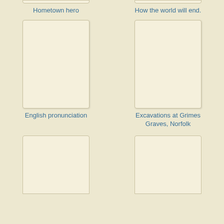[Figure (illustration): Book cover placeholder card (partially visible top)]
Hometown hero
[Figure (illustration): Book cover placeholder card (partially visible top)]
How the world will end.
[Figure (illustration): Book cover placeholder card]
English pronunciation
[Figure (illustration): Book cover placeholder card]
Excavations at Grimes Graves, Norfolk
[Figure (illustration): Book cover placeholder card (partially visible bottom)]
[Figure (illustration): Book cover placeholder card (partially visible bottom)]